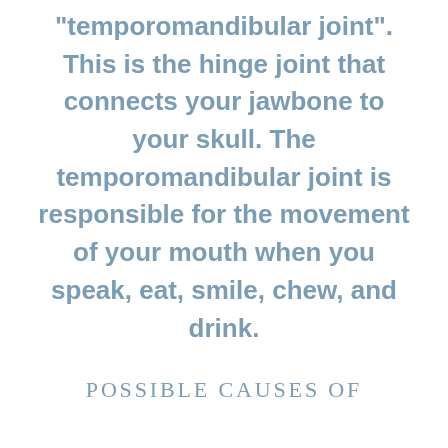“temporomandibular joint”. This is the hinge joint that connects your jawbone to your skull. The temporomandibular joint is responsible for the movement of your mouth when you speak, eat, smile, chew, and drink.
POSSIBLE CAUSES OF